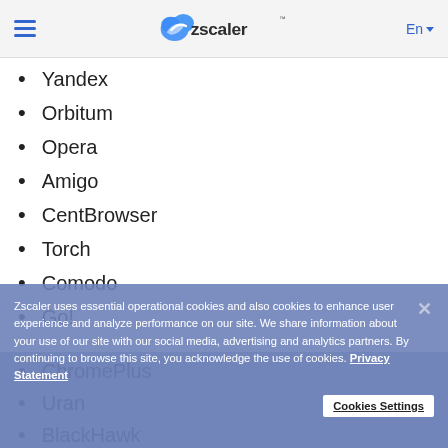Zscaler - En
Yandex
Orbitum
Opera
Amigo
CentBrowser
Torch
Comodo
Go!
ChromePlus
Uran
BlackHawk
CoolNovo
AcWebBrowser
Epic Browser
Baidu Spark
Rockmelt
Zscaler uses essential operational cookies and also cookies to enhance user experience and analyze performance on our site. We share information about your use of our site with our social media, advertising and analytics partners. By continuing to browse this site, you acknowledge the use of cookies. Privacy Statement
Cookies Settings